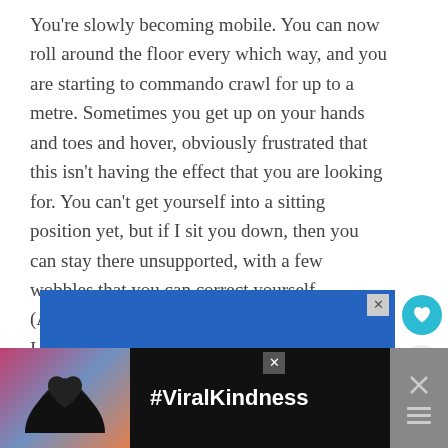You're slowly becoming mobile. You can now roll around the floor every which way, and you are starting to commando crawl for up to a metre. Sometimes you get up on your hands and toes and hover, obviously frustrated that this isn't having the effect that you are looking for. You can't get yourself into a sitting position yet, but if I sit you down, then you can stay there unsupported, with a few wobbles that you can correct yourself. (Although you will fall at the slightest push, so I have to be careful that your sister doesn't give you too many cuddles.)
[Figure (other): Blue advertisement banner with close button]
[Figure (other): Dark advertisement banner with heart hands silhouette image and #ViralKindness text]